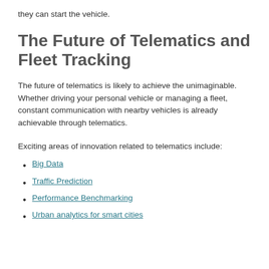they can start the vehicle.
The Future of Telematics and Fleet Tracking
The future of telematics is likely to achieve the unimaginable. Whether driving your personal vehicle or managing a fleet, constant communication with nearby vehicles is already achievable through telematics.
Exciting areas of innovation related to telematics include:
Big Data
Traffic Prediction
Performance Benchmarking
Urban analytics for smart cities